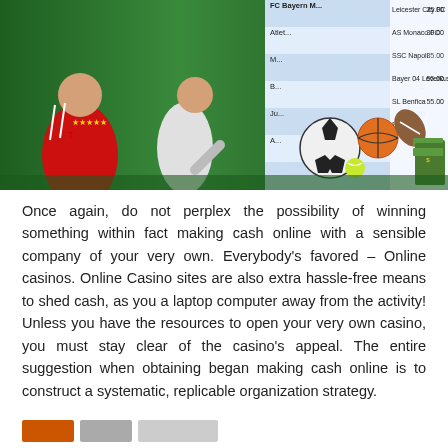[Figure (photo): Sports betting banner image showing a soccer player in red Bayern Munich jersey with arms crossed, another player kicking a ball, sports balls (soccer, basketball, football, tennis), a stack of cash, and a betting odds table on the right listing Leicester City FC 25.00, AS Monaco FC 30.00, SSC Napoli 35.00, Bayer 04 Leverkusen 55.00, SL Benfica 55.00]
Once again, do not perplex the possibility of winning something within fact making cash online with a sensible company of your very own. Everybody's favored – Online casinos. Online Casino sites are also extra hassle-free means to shed cash, as you a laptop computer away from the activity! Unless you have the resources to open your very own casino, you must stay clear of the casino's appeal. The entire suggestion when obtaining began making cash online is to construct a systematic, replicable organization strategy.